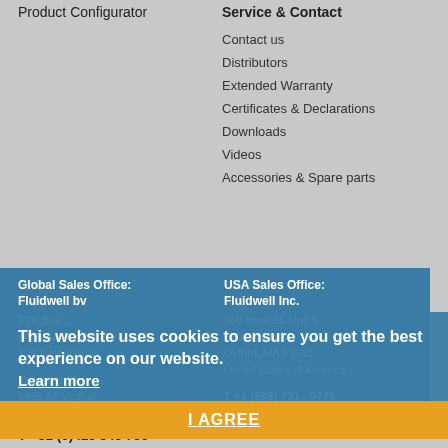Product Configurator
Service & Contact
Contact us
Distributors
Extended Warranty
Certificates & Declarations
Downloads
Videos
Accessories & Spare parts
Global Sales Office:
Fluidwell bv
P.O. Box ...
5460 AA Veghel
The Netherlands
USA Sales Office:
Fluidwell Inc.
350 Main St. Unit 5
(PO Box 104)
Oxford, MA 01540
United States of America
Voltaweg 23
5466 AZ Veghel
The Netherlands
T +1 (508) 731 - 6775
T +1 (508) 784 - 1121
This website uses cookies to ensure you get the best experience on our website.
Learn more
I AGREE
T +31 (0)413 343 786